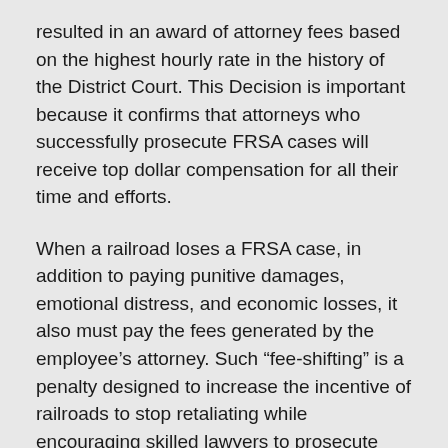resulted in an award of attorney fees based on the highest hourly rate in the history of the District Court. This Decision is important because it confirms that attorneys who successfully prosecute FRSA cases will receive top dollar compensation for all their time and efforts.
When a railroad loses a FRSA case, in addition to paying punitive damages, emotional distress, and economic losses, it also must pay the fees generated by the employee's attorney. Such “fee-shifting” is a penalty designed to increase the incentive of railroads to stop retaliating while encouraging skilled lawyers to prosecute any violations of the law.
The focus of every fee award decision is on the qualifications and performance of the attorney